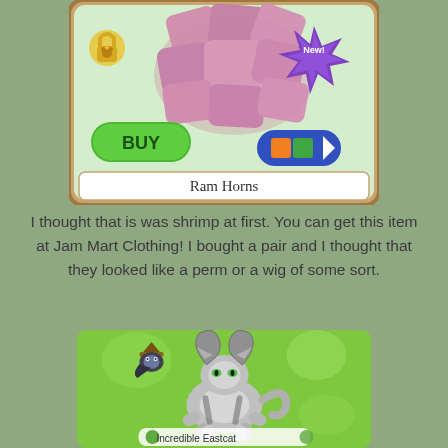[Figure (screenshot): Animal Jam game screenshot showing a shop item card for 'Ram Horns' — pink rock-like horn item with a BUY button, lock icon with paw print, 'New!' starburst badge, and a gem/currency toggle bar. Item name 'Ram Horns' shown at bottom of card.]
I thought that is was shrimp at first. You can get this item at Jam Mart Clothing! I bought a pair and I thought that they looked like a perm or a wig of some sort.
[Figure (screenshot): Animal Jam game screenshot showing a cat character wearing the Ram Horns item on a green background. A small bird NPC with a witch hat is visible in the upper left. Text at bottom reads 'Incredible Eastcat'.]